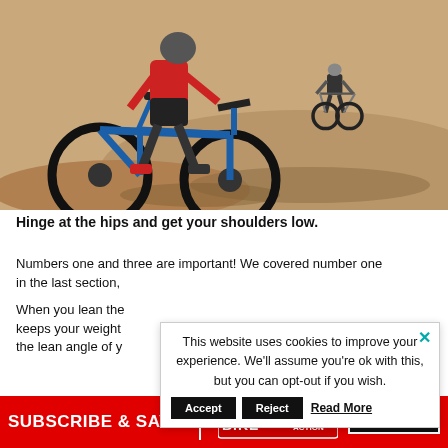[Figure (photo): Two mountain bikers riding downhill on a dirt trail with sandy/rocky terrain. One rider in red shirt on a blue full-suspension mountain bike in foreground, another rider in black further ahead. Long shadows visible on the ground.]
Hinge at the hips and get your shoulders low.
Numbers one and three are important! We covered number one in the last section,
When you lean the keeps your weight the lean angle of y
This website uses cookies to improve your experience. We'll assume you're ok with this, but you can opt-out if you wish.
Accept   Reject   Read More
[Figure (logo): Mountain Bike Action magazine subscription banner: red background with white text SUBSCRIBE & SAVE, Mountain Bike Action logo, and ORDER NOW! button in black box.]